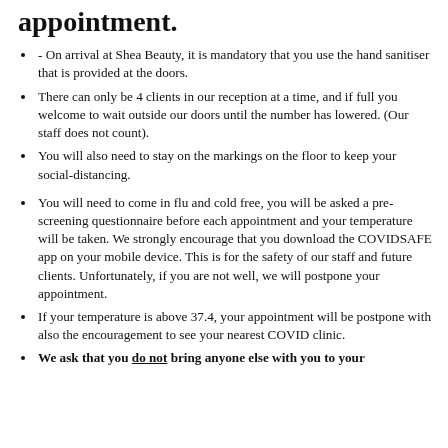appointment.
- On arrival at Shea Beauty, it is mandatory that you use the hand sanitiser that is provided at the doors.
There can only be 4 clients in our reception at a time, and if full you welcome to wait outside our doors until the number has lowered. (Our staff does not count).
You will also need to stay on the markings on the floor to keep your social-distancing.
You will need to come in flu and cold free, you will be asked a pre-screening questionnaire before each appointment and your temperature will be taken. We strongly encourage that you download the COVIDSAFE app on your mobile device. This is for the safety of our staff and future clients. Unfortunately, if you are not well, we will postpone your appointment.
If your temperature is above 37.4, your appointment will be postpone with also the encouragement to see your nearest COVID clinic.
We ask that you do not bring anyone else with you to your appointment, this includes children & babies. We are...